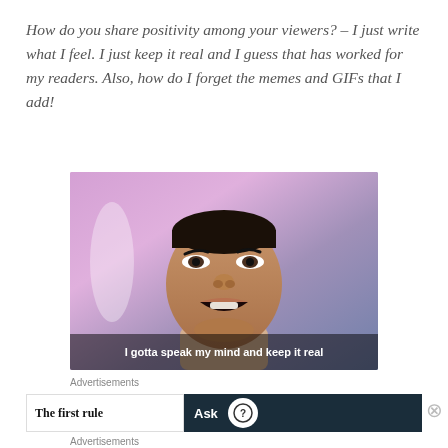How do you share positivity among your viewers? – I just write what I feel. I just keep it real and I guess that has worked for my readers. Also, how do I forget the memes and GIFs that I add!
[Figure (photo): A person with mouth open speaking expressively, with subtitle text 'I gotta speak my mind and keep it real' overlaid at the bottom of the image. Pinkish/purple background.]
Advertisements
The first rule
[Figure (screenshot): Dark navy advertisement banner showing 'Ask' text with a circular icon/logo]
Advertisements
[Figure (screenshot): DuckDuckGo advertisement: orange background with text 'Search, browse, and email with more privacy. All in One Free App' and DuckDuckGo logo on dark background]